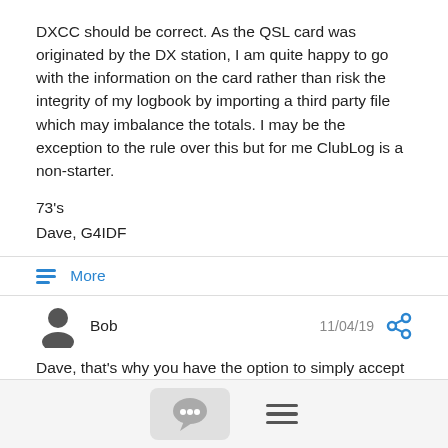DXCC should be correct. As the QSL card was originated by the DX station, I am quite happy to go with the information on the card rather than risk the integrity of my logbook by importing a third party file which may imbalance the totals.  I may be the exception to the rule over this but for me ClubLog is a non-starter.
73's
Dave, G4IDF
≡ More
Bob  11/04/19
Dave, that's why you have the option to simply accept the recommended changes automatically or be prompted to manually OK each one. FWIW, I would resubmit (one by one) the anomalies to Club Log. While they do have a 560M QSO database, they can only be as accurate as